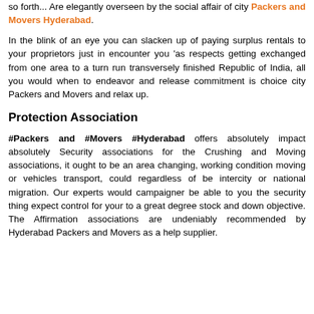so forth... Are elegantly overseen by the social affair of city Packers and Movers Hyderabad.
In the blink of an eye you can slacken up of paying surplus rentals to your proprietors just in encounter you 'as respects getting exchanged from one area to a turn run transversely finished Republic of India, all you would when to endeavor and release commitment is choice city Packers and Movers and relax up.
Protection Association
#Packers and #Movers #Hyderabad offers absolutely impact absolutely Security associations for the Crushing and Moving associations, it ought to be an area changing, working condition moving or vehicles transport, could regardless of be intercity or national migration. Our experts would campaigner be able to you the security thing expect control for your to a great degree stock and down objective. The Affirmation associations are undeniably recommended by Hyderabad Packers and Movers as a help supplier.